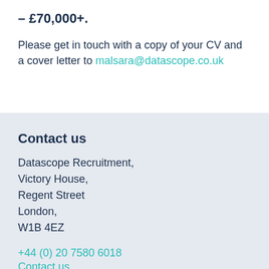– £70,000+.
Please get in touch with a copy of your CV and a cover letter to malsara@datascope.co.uk
Contact us
Datascope Recruitment,
Victory House,
Regent Street
London,
W1B 4EZ
+44 (0) 20 7580 6018
Contact us